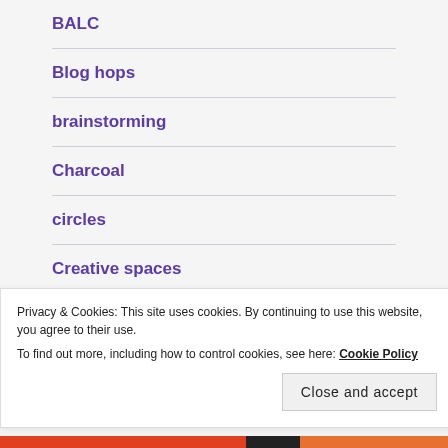BALC
Blog hops
brainstorming
Charcoal
circles
Creative spaces
Privacy & Cookies: This site uses cookies. By continuing to use this website, you agree to their use.
To find out more, including how to control cookies, see here: Cookie Policy